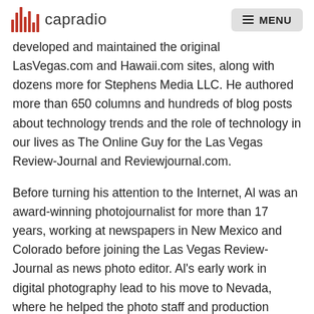capradio | MENU
developed and maintained the original LasVegas.com and Hawaii.com sites, along with dozens more for Stephens Media LLC. He authored more than 650 columns and hundreds of blog posts about technology trends and the role of technology in our lives as The Online Guy for the Las Vegas Review-Journal and Reviewjournal.com.
Before turning his attention to the Internet, Al was an award-winning photojournalist for more than 17 years, working at newspapers in New Mexico and Colorado before joining the Las Vegas Review-Journal as news photo editor. Al's early work in digital photography lead to his move to Nevada, where he helped the photo staff and production department refine procedures and set photo reproduction standards at the newspaper. He is a graduate of Southern Illinois University in Carbondale